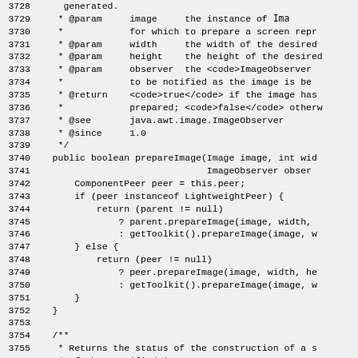Source code listing lines 3728-3758, Java source code for prepareImage method with Javadoc comments